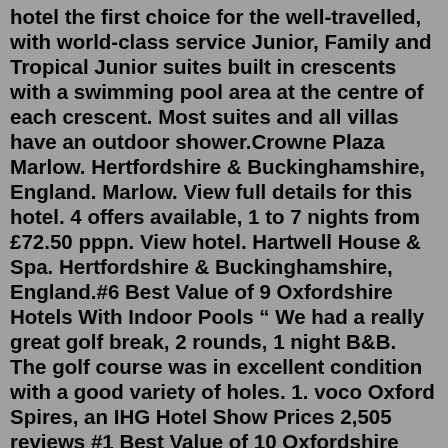hotel the first choice for the well-travelled, with world-class service Junior, Family and Tropical Junior suites built in crescents with a swimming pool area at the centre of each crescent. Most suites and all villas have an outdoor shower.Crowne Plaza Marlow. Hertfordshire & Buckinghamshire, England. Marlow. View full details for this hotel. 4 offers available, 1 to 7 nights from £72.50 pppn. View hotel. Hartwell House & Spa. Hertfordshire & Buckinghamshire, England.#6 Best Value of 9 Oxfordshire Hotels With Indoor Pools “ We had a really great golf break, 2 rounds, 1 night B&B. The golf course was in excellent condition with a good variety of holes. 1. voco Oxford Spires, an IHG Hotel Show Prices 2,505 reviews #1 Best Value of 10 Oxfordshire Hotels With Indoor Pools "We had to book this hotel last minute for the bridal party for our daughter's wedding having been let down at the last minute elsewhere. Consequently cost was perhaps more than we would usually pay for..."DoubleTree by Hilton Oxford Belfry Thame